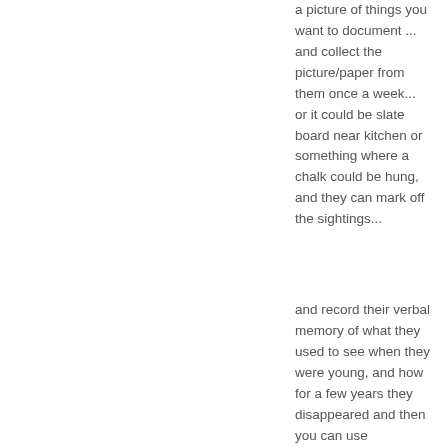a picture of things you want to document ... and collect the picture/paper from them once a week... or it could be slate board near kitchen or something where a chalk could be hung, and they can mark off the sightings...
and record their verbal memory of what they used to see when they were young, and how for a few years they disappeared and then you can use